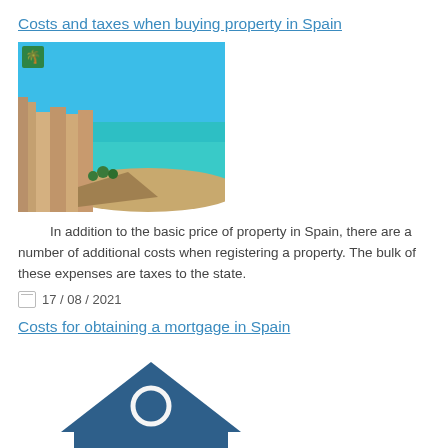Costs and taxes when buying property in Spain
[Figure (photo): Aerial photo of a coastal Spanish town with turquoise water, sandy beach, and buildings along the shore]
In addition to the basic price of property in Spain, there are a number of additional costs when registering a property. The bulk of these expenses are taxes to the state.
17 / 08 / 2021
Costs for obtaining a mortgage in Spain
[Figure (illustration): Dark blue bank building icon with columns and a euro sign in the center, representing mortgage costs]